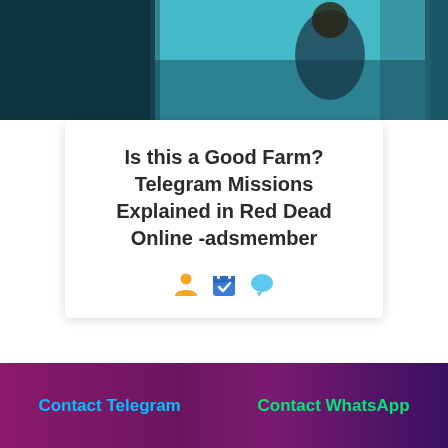[Figure (photo): Partial game artwork showing a character in a dark teal/blue environment, appears to be from Red Dead Online]
Is this a Good Farm? Telegram Missions Explained in Red Dead Online -adsmember
[Figure (infographic): Three icons: an orange person/user icon, a blue calendar with checkmark icon, and a blue speech bubble/chat icon]
Contact Telegram   Contact WhatsApp